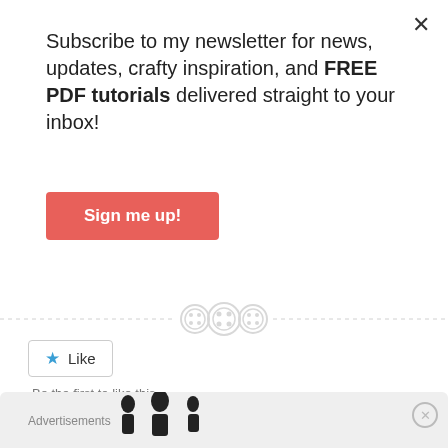Subscribe to my newsletter for news, updates, crafty inspiration, and FREE PDF tutorials delivered straight to your inbox!
[Figure (other): Sign me up! button - red/coral colored rectangular button with white bold text]
[Figure (other): Like button with blue star icon]
Be the first to like this.
[Figure (other): Decorative sewing buttons divider line with three button icons in the center]
Advertisements
[Figure (other): Advertisement banner with silhouette figures, close button with X circle]